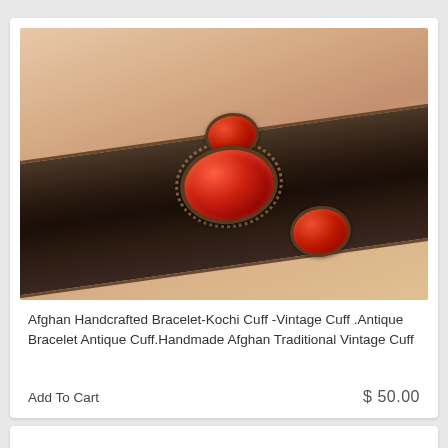[Figure (photo): A wrist wearing an Afghan handcrafted cuff bracelet. The bracelet is made of dark oxidized silver metal with ornate detailing and features three red carnelian stones: one large oval center stone, one smaller round stone at the top, and one smaller round stone at the bottom right.]
Afghan Handcrafted Bracelet-Kochi Cuff -Vintage Cuff .Antique Bracelet Antique Cuff.Handmade Afghan Traditional Vintage Cuff
Add To Cart
$ 50.00
[Figure (photo): Partially visible second product card with a gray/silver image area at the bottom of the page.]